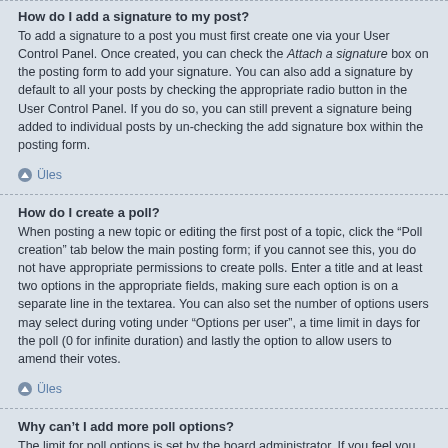How do I add a signature to my post?
To add a signature to a post you must first create one via your User Control Panel. Once created, you can check the Attach a signature box on the posting form to add your signature. You can also add a signature by default to all your posts by checking the appropriate radio button in the User Control Panel. If you do so, you can still prevent a signature being added to individual posts by un-checking the add signature box within the posting form.
Üles
How do I create a poll?
When posting a new topic or editing the first post of a topic, click the “Poll creation” tab below the main posting form; if you cannot see this, you do not have appropriate permissions to create polls. Enter a title and at least two options in the appropriate fields, making sure each option is on a separate line in the textarea. You can also set the number of options users may select during voting under “Options per user”, a time limit in days for the poll (0 for infinite duration) and lastly the option to allow users to amend their votes.
Üles
Why can’t I add more poll options?
The limit for poll options is set by the board administrator. If you feel you need to add more options to your poll than the allowed amount, contact the board administrator.